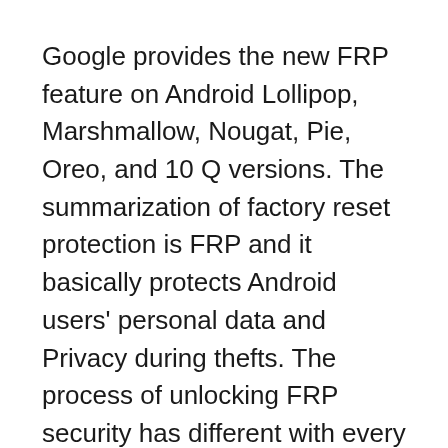Google provides the new FRP feature on Android Lollipop, Marshmallow, Nougat, Pie, Oreo, and 10 Q versions. The summarization of factory reset protection is FRP and it basically protects Android users' personal data and Privacy during thefts. The process of unlocking FRP security has different with every new Android version and phone. So, always remember the Gmail account information to avoid FRP protection lock.
The FRP turns On automatically when you have setup a Google Account on your GTel